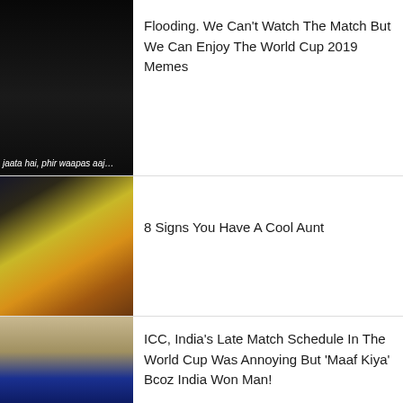[Figure (photo): Thumbnail of a woman in black outfit with white text overlay 'jaata hai, phir waapas aaj']
Flooding. We Can't Watch The Match But We Can Enjoy The World Cup 2019 Memes
[Figure (photo): Thumbnail of a smiling middle-aged Indian woman in yellow and pink saree with bindi and jewelry]
8 Signs You Have A Cool Aunt
[Figure (photo): Thumbnail of a bearded man with wide eyes looking up, wearing blue]
ICC, India's Late Match Schedule In The World Cup Was Annoying But 'Maaf Kiya' Bcoz India Won Man!
[Figure (photo): Thumbnail of a person with long dark hair against purple background]
Annoying Guys: Thoughts Girls Have When They Witness Guys